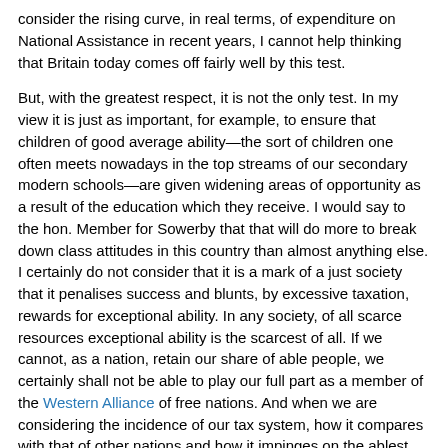consider the rising curve, in real terms, of expenditure on National Assistance in recent years, I cannot help thinking that Britain today comes off fairly well by this test.
But, with the greatest respect, it is not the only test. In my view it is just as important, for example, to ensure that children of good average ability—the sort of children one often meets nowadays in the top streams of our secondary modern schools—are given widening areas of opportunity as a result of the education which they receive. I would say to the hon. Member for Sowerby that that will do more to break down class attitudes in this country than almost anything else. I certainly do not consider that it is a mark of a just society that it penalises success and blunts, by excessive taxation, rewards for exceptional ability. In any society, of all scarce resources exceptional ability is the scarcest of all. If we cannot, as a nation, retain our share of able people, we certainly shall not be able to play our full part as a member of the Western Alliance of free nations. And when we are considering the incidence of our tax system, how it compares with that of other nations and how it impinges on the ablest people in our society, we must think not only of those who are paying Surtax now but also of those younger men of ability who know that they will get into the Surtax range before long. Judging by all these tests, I believe that my right hon. and learned Friend's proposals have been entirely justified and that they should